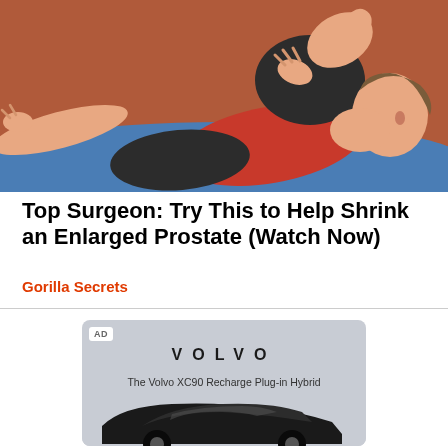[Figure (illustration): Illustration of a person lying on their back on a blue exercise mat, wearing a red top and dark shorts, pulling one knee toward their chest in a stretching pose. The background is a reddish-brown color.]
Top Surgeon: Try This to Help Shrink an Enlarged Prostate (Watch Now)
Gorilla Secrets
[Figure (illustration): Advertisement card with gray background showing the VOLVO logo in spaced letters, subtitle 'The Volvo XC90 Recharge Plug-in Hybrid', and partial view of a dark-colored Volvo SUV at the bottom. An 'AD' label badge is in the top-left corner.]